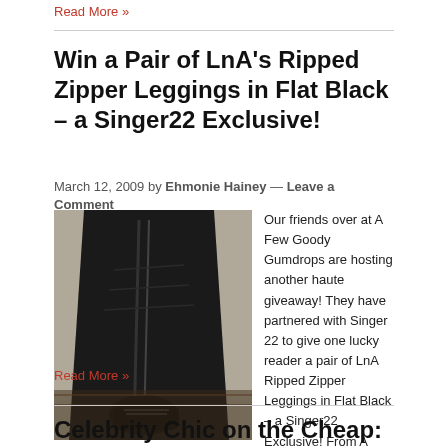Read More »
Win a Pair of LnA's Ripped Zipper Leggings in Flat Black – a Singer22 Exclusive!
March 12, 2009 by Ehmonie Hainey — Leave a Comment
[Figure (photo): Photo of black ripped zipper leggings by LnA on a dark wooden surface]
Our friends over at A Few Goody Gumdrops are hosting another haute giveaway! They have partnered with Singer 22 to give one lucky reader a pair of LnA Ripped Zipper Leggings in Flat Black – a Singer22 Exclusive! From A Few Goody Gumdrops: To win these oh-so fashionable leggings, visit Singer 22's website and tell [...]
Read More »
Celebrity Chic on the Cheap: These